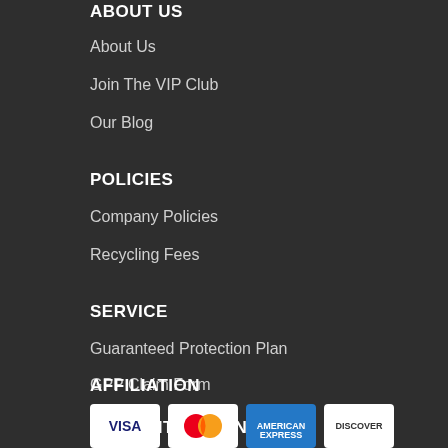ABOUT US
About Us
Join The VIP Club
Our Blog
POLICIES
Company Policies
Recycling Fees
SERVICE
Guaranteed Protection Plan
GPP Claim Form
AFFILIATION
PAYMENT OPTIONS
[Figure (other): Payment card icons: Visa, Mastercard, American Express, and another card]